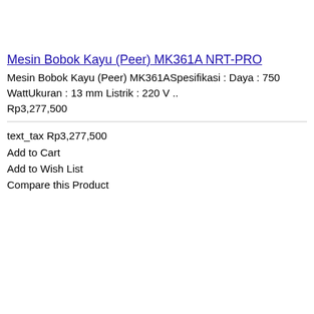Mesin Bobok Kayu (Peer) MK361A NRT-PRO
Mesin Bobok Kayu (Peer) MK361ASpesifikasi : Daya : 750 WattUkuran : 13 mm Listrik : 220 V ..
Rp3,277,500
text_tax Rp3,277,500
Add to Cart
Add to Wish List
Compare this Product